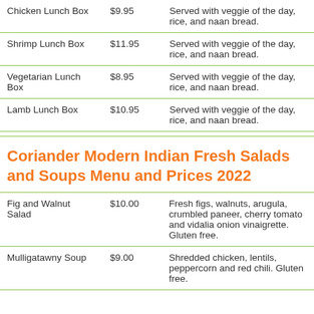| Item | Price | Description |
| --- | --- | --- |
| Chicken Lunch Box | $9.95 | Served with veggie of the day, rice, and naan bread. |
| Shrimp Lunch Box | $11.95 | Served with veggie of the day, rice, and naan bread. |
| Vegetarian Lunch Box | $8.95 | Served with veggie of the day, rice, and naan bread. |
| Lamb Lunch Box | $10.95 | Served with veggie of the day, rice, and naan bread. |
Coriander Modern Indian Fresh Salads and Soups Menu and Prices 2022
| Item | Price | Description |
| --- | --- | --- |
| Fig and Walnut Salad | $10.00 | Fresh figs, walnuts, arugula, crumbled paneer, cherry tomato and vidalia onion vinaigrette. Gluten free. |
| Mulligatawny Soup | $9.00 | Shredded chicken, lentils, peppercorn and red chili. Gluten free. |